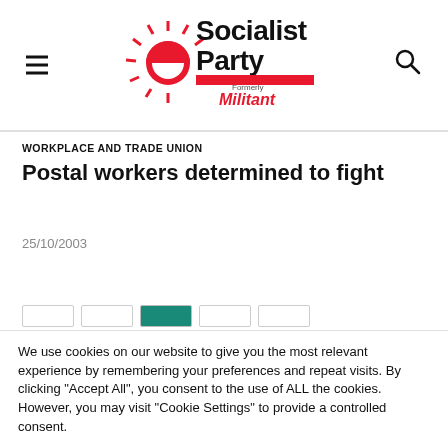[Figure (logo): Socialist Party logo with sun rays graphic, 'Socialist Party' text and 'Formerly Militant' subtext in red]
WORKPLACE AND TRADE UNION
Postal workers determined to fight
25/10/2003
We use cookies on our website to give you the most relevant experience by remembering your preferences and repeat visits. By clicking "Accept All", you consent to the use of ALL the cookies. However, you may visit "Cookie Settings" to provide a controlled consent.